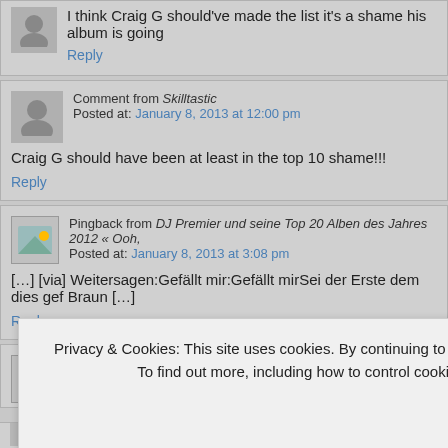I think Craig G should've made the list it's a shame his album is going
Reply
Comment from Skilltastic
Posted at: January 8, 2013 at 12:00 pm
Craig G should have been at least in the top 10 shame!!!
Reply
Pingback from DJ Premier und seine Top 20 Alben des Jahres 2012 « Ooh,
Posted at: January 8, 2013 at 3:08 pm
[…] [via] Weitersagen:Gefällt mir:Gefällt mirSei der Erste dem dies gef Braun […]
Reply
Pingback from [News] DJ Premier Names His Top 20 Albums Of 2012 | DJ V
Posted at: January 8, 2013 at 3:12 pm
Privacy & Cookies: This site uses cookies. By continuing to use this website, you agree to their use.
To find out more, including how to control cookies, see here: Cookie Policy
Close and accept
Grief Pedigree not included? Kolexxxion on the #2 spot? Rick Ros?